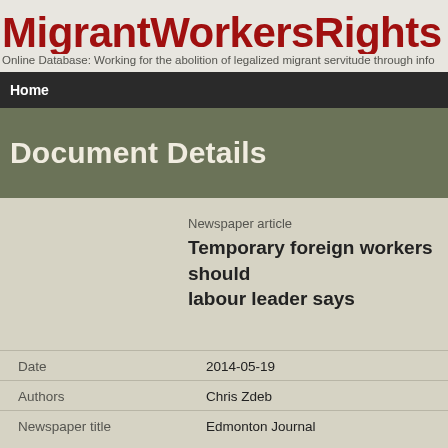MigrantWorkersRights Glob
Online Database: Working for the abolition of legalized migrant servitude through info
Home
Document Details
Newspaper article
Temporary foreign workers should labour leader says
| Field | Value |
| --- | --- |
| Date | 2014-05-19 |
| Authors | Chris Zdeb |
| Newspaper title | Edmonton Journal |